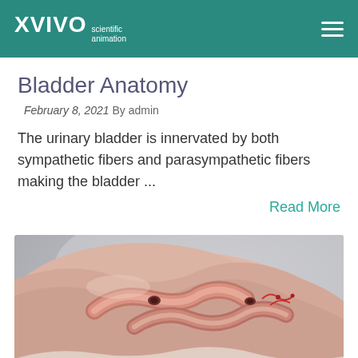XVIVO scientific animation
Bladder Anatomy
February 8, 2021  By admin
The urinary bladder is innervated by both sympathetic fibers and parasympathetic fibers making the bladder ...
Read More
[Figure (photo): Medical 3D illustration of bladder anatomy showing pink flesh-colored tissue with tubular structures, rendered in a realistic scientific animation style against a gray background.]